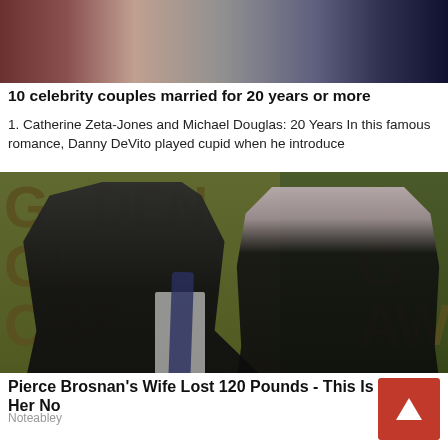[Figure (photo): Top portion of a photo showing two people (cropped heads/torsos), one in red and one in dark clothing, partially visible at the top of the page]
10 celebrity couples married for 20 years or more
1. Catherine Zeta-Jones and Michael Douglas: 20 Years In this famous romance, Danny DeVito played cupid when he introduce
[Figure (photo): Pierce Brosnan and his wife Keely Shaye Smith posing at the Golden Globe Awards. Pierce wears a black tuxedo with navy tie, Keely wears a black strapless gown. Golden Globes awards backdrop visible behind them.]
Pierce Brosnan's Wife Lost 120 Pounds - This Is Her No
Noteabley